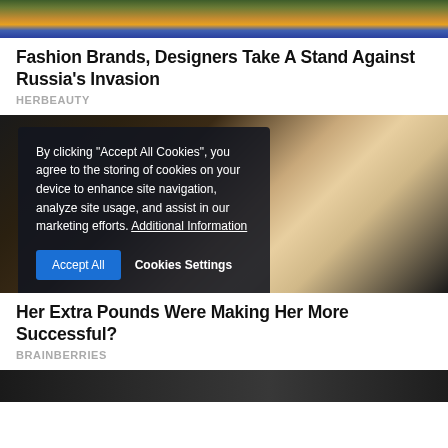[Figure (photo): Partial view of fashion photo at top of page showing colorful clothing]
Fashion Brands, Designers Take A Stand Against Russia's Invasion
HERBEAUTY
[Figure (photo): Photo of blonde woman overlaid with cookie consent dialog]
By clicking "Accept All Cookies", you agree to the storing of cookies on your device to enhance site navigation, analyze site usage, and assist in our marketing efforts. Additional Information
Her Extra Pounds Were Making Her More Successful?
BRAINBERRIES
[Figure (photo): Partial view of another article photo at bottom of page]